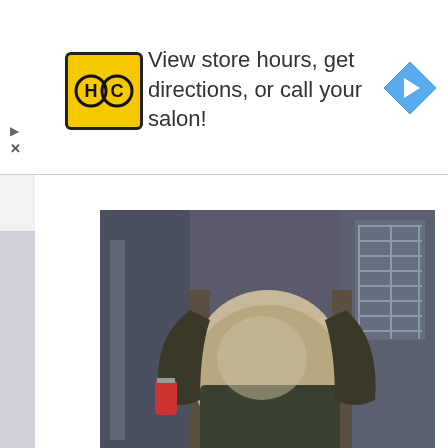[Figure (logo): HC (Hair Club) logo - yellow square with black H and C letters in circles, navigation arrow icon on right, ad text in center]
View store hours, get directions, or call your salon!
[Figure (photo): A person sitting in a chair holding a drink can, showing a large belly/gut, wearing dark clothing - still from Avengers: Endgame showing Thor]
'Avengers: Endgame' – How Did Thor End Up with a Beer Gut? Isn't He Supposed to be a God?
May 10, 2019